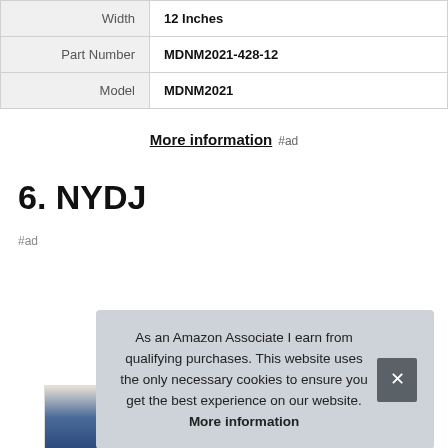| Attribute | Value |
| --- | --- |
| Width | 12 Inches |
| Part Number | MDNM2021-428-12 |
| Model | MDNM2021 |
More information #ad
6. NYDJ
#ad
As an Amazon Associate I earn from qualifying purchases. This website uses the only necessary cookies to ensure you get the best experience on our website. More information